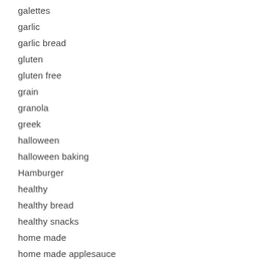galettes
garlic
garlic bread
gluten
gluten free
grain
granola
greek
halloween
halloween baking
Hamburger
healthy
healthy bread
healthy snacks
home made
home made applesauce